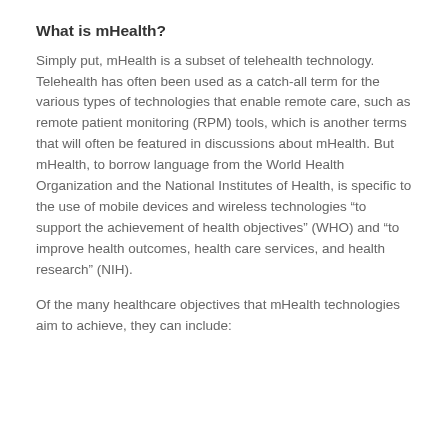What is mHealth?
Simply put, mHealth is a subset of telehealth technology. Telehealth has often been used as a catch-all term for the various types of technologies that enable remote care, such as remote patient monitoring (RPM) tools, which is another terms that will often be featured in discussions about mHealth. But mHealth, to borrow language from the World Health Organization and the National Institutes of Health, is specific to the use of mobile devices and wireless technologies “to support the achievement of health objectives” (WHO) and “to improve health outcomes, health care services, and health research” (NIH).
Of the many healthcare objectives that mHealth technologies aim to achieve, they can include: